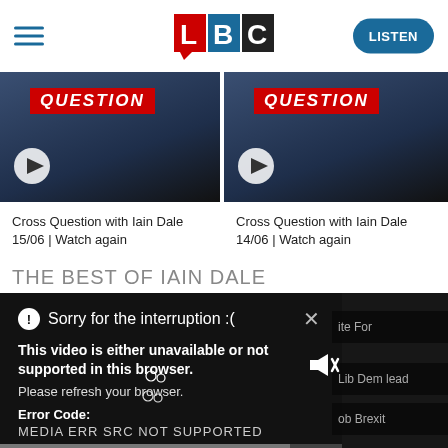LBC | LISTEN
[Figure (screenshot): Video thumbnail for Cross Question with Iain Dale 15/06 showing a man in a suit with a red QUESTION banner and a play button overlay]
[Figure (screenshot): Video thumbnail for Cross Question with Iain Dale 14/06 showing a man in a suit with a red QUESTION banner and a play button overlay]
Cross Question with Iain Dale 15/06 | Watch again
Cross Question with Iain Dale 14/06 | Watch again
THE BEST OF IAIN DALE
[Figure (screenshot): Video player error overlay on dark background showing: Sorry for the interruption :( with close X button. Bold text: This video is either unavailable or not supported in this browser. Please refresh your browser. Error Code: MEDIA ERR SRC NOT SUPPORTED. Muted speaker icon visible. Partial text on right: ite For, Lib Dem lead, ob Brexit. Progress bar at bottom.]